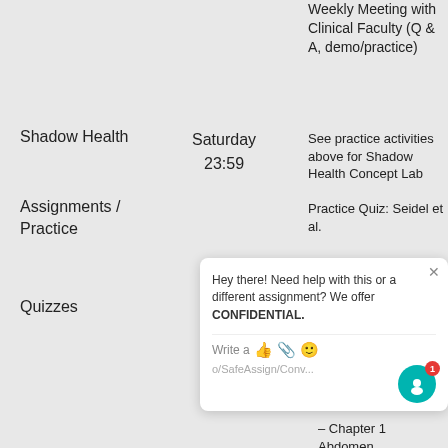Weekly Meeting with Clinical Faculty (Q & A, demo/practice)
Shadow Health
Saturday 23:59
See practice activities above for Shadow Health Concept Lab
Assignments / Practice
Practice Quiz: Seidel et al.
– Ch... Bre... Axil...
Quizzes
Practice... et al.
– Chapter 1... Abdomen
[Figure (screenshot): Chat popup overlay with text: Hey there! Need help with this or a different assignment? We offer CONFIDENTIAL. Write a [icons]. Partial URL visible at bottom. Red badge showing 1 notification. Teal circular avatar icon.]